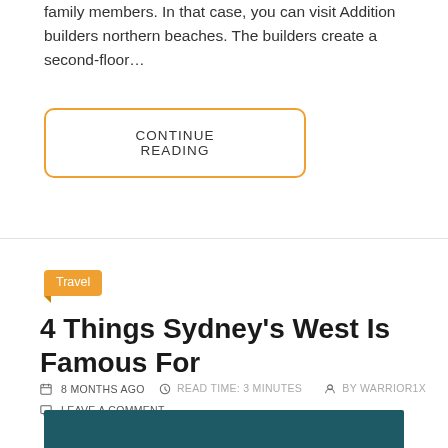family members. In that case, you can visit Addition builders northern beaches. The builders create a second-floor…
CONTINUE READING
Travel
4 Things Sydney's West Is Famous For
8 MONTHS AGO   READ TIME: 3 MINUTES   BY WARRIOR1X   LEAVE A COMMENT
[Figure (photo): Dark teal/green image, bottom of page, partial view]